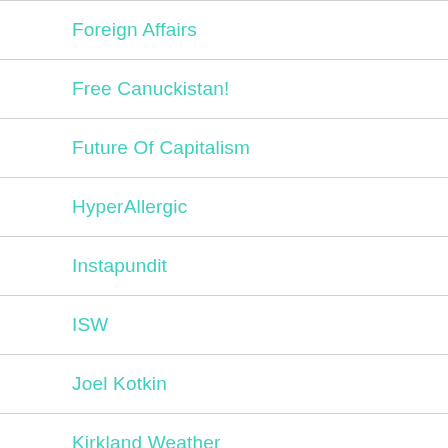Foreign Affairs
Free Canuckistan!
Future Of Capitalism
HyperAllergic
Instapundit
ISW
Joel Kotkin
Kirkland Weather